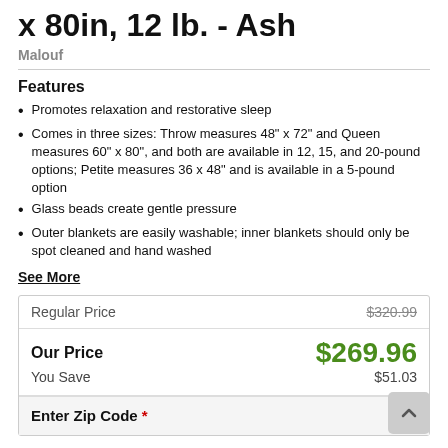x 80in, 12 lb. - Ash
Malouf
Features
Promotes relaxation and restorative sleep
Comes in three sizes: Throw measures 48" x 72" and Queen measures 60" x 80", and both are available in 12, 15, and 20-pound options; Petite measures 36 x 48" and is available in a 5-pound option
Glass beads create gentle pressure
Outer blankets are easily washable; inner blankets should only be spot cleaned and hand washed
See More
|  |  |
| --- | --- |
| Regular Price | $320.99 |
| Our Price | $269.96 |
| You Save | $51.03 |
Enter Zip Code *